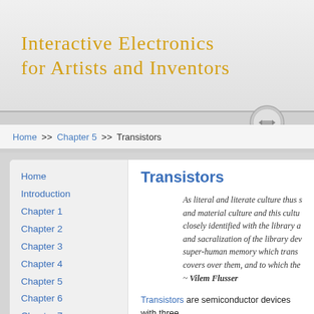Interactive Electronics for Artists and Inventors
Home >> Chapter 5 >> Transistors
Transistors
As literal and literate culture thus s... and material culture and this cultu... closely identified with the library a... and sacralization of the library dev... super-human memory which trans... covers over them, and to which the... ~ Vilem Flusser
Transistors are semiconductor devices with three... current to control a much larger current. By addin... with a three-layer transistor device called either N... layers) or PNP which has two not positive layers o... silicon. I call this a silicon sandwich, with NPN b...
Home
Introduction
Chapter 1
Chapter 2
Chapter 3
Chapter 4
Chapter 5
Chapter 6
Chapter 7
Chapter 8
Chapter 9
Chapter 10
Chapter 11
Chapter 12